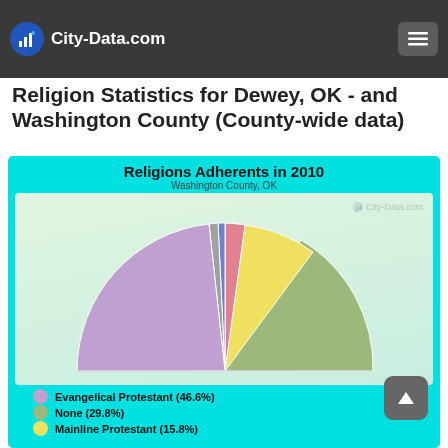City-Data.com
Religion Statistics for Dewey, OK - and Washington County (County-wide data)
[Figure (pie-chart): Religions Adherents in 2010]
Evangelical Protestant (46.6%)
None (29.8%)
Mainline Protestant (15.8%)